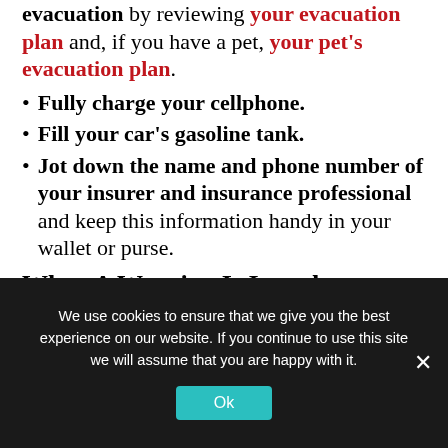…evacuation by reviewing your evacuation plan and, if you have a pet, your pet's evacuation plan.
Fully charge your cellphone.
Fill your car's gasoline tank.
Jot down the name and phone number of your insurer and insurance professional and keep this information handy in your wallet or purse.
When A Warning Is Issued
We use cookies to ensure that we give you the best experience on our website. If you continue to use this site we will assume that you are happy with it.